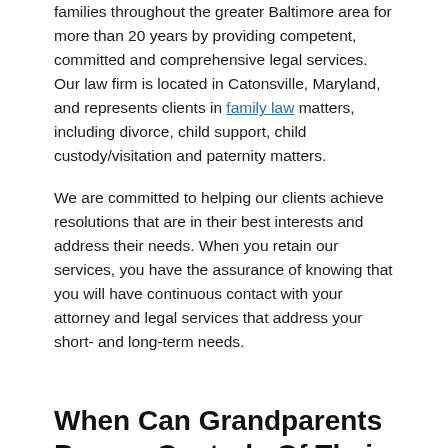families throughout the greater Baltimore area for more than 20 years by providing competent, committed and comprehensive legal services. Our law firm is located in Catonsville, Maryland, and represents clients in family law matters, including divorce, child support, child custody/visitation and paternity matters.
We are committed to helping our clients achieve resolutions that are in their best interests and address their needs. When you retain our services, you have the assurance of knowing that you will have continuous contact with your attorney and legal services that address your short- and long-term needs.
When Can Grandparents Pursue Custody Of Their Grandchildren?
If a parent is unfit to raise their own child, a “third party” (meaning a non-biological person) may seek custody and visitation rights. For instance, a grandparent may seek custody